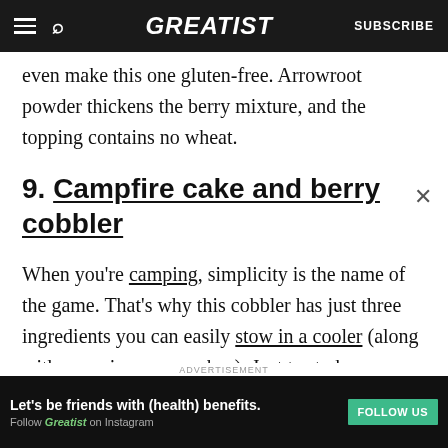GREATIST | SUBSCRIBE
even make this one gluten-free. Arrowroot powder thickens the berry mixture, and the topping contains no wheat.
9. Campfire cake and berry cobbler
When you're camping, simplicity is the name of the game. That's why this cobbler has just three ingredients you can easily stow in a cooler (along with some ice cream, obvs). Just try to keep your
ADVERTISEMENT
Let's be friends with (health) benefits. Follow GREATIST on Instagram FOLLOW US